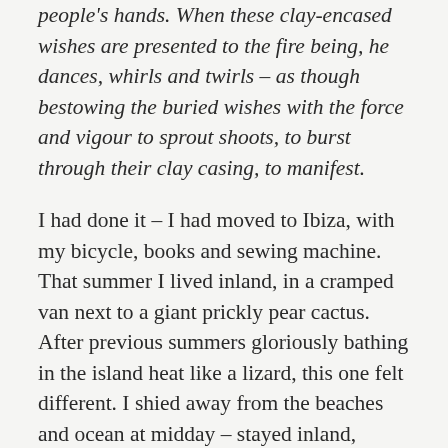people's hands. When these clay-encased wishes are presented to the fire being, he dances, whirls and twirls – as though bestowing the buried wishes with the force and vigour to sprout shoots, to burst through their clay casing, to manifest.
I had done it – I had moved to Ibiza, with my bicycle, books and sewing machine. That summer I lived inland, in a cramped van next to a giant prickly pear cactus. After previous summers gloriously bathing in the island heat like a lizard, this one felt different. I shied away from the beaches and ocean at midday – stayed inland, seeking shade. My new urge to escape what felt like the aggressive rays of the sun led me to discover two refuges – both as deeply nestled in the island's interior as you could ever get. An emerald green, freshwater pool beside a whitewashed well, and the shady, tranquil banks of